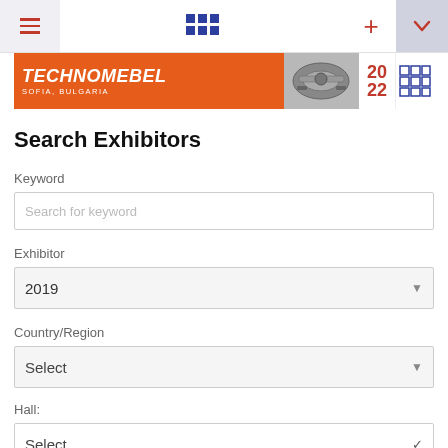[Figure (screenshot): Mobile app navigation bar with hamburger menu (red lines), blue grid icon in center, red plus sign, and chevron dropdown on grey background]
[Figure (screenshot): Technomebel 2022 Sofia Bulgaria banner with orange background, hinge hardware image, red year 2022, and Inter Expo Center grid logo]
Search Exhibitors
Keyword
Search for keyword
Exhibitor
2019
Country/Region
Select
Hall:
Select